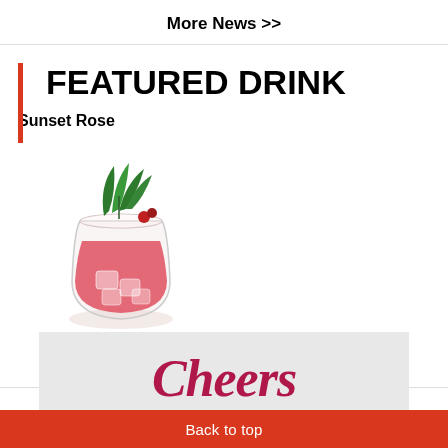More News >>
FEATURED DRINK
Sunset Rose
[Figure (photo): A cocktail glass filled with a red/pink drink, ice cubes, garnished with fresh green mint leaves on top]
[Figure (logo): Cheers magazine logo in pink/crimson italic script on a light grey background, partially visible]
Back to top